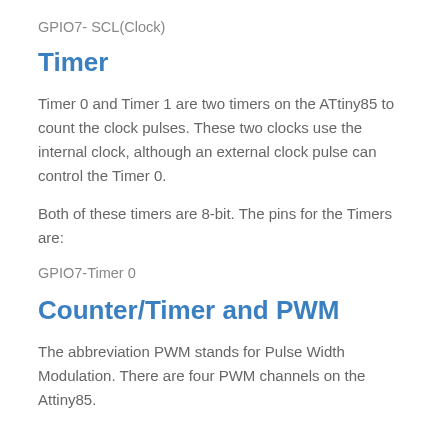GPIO7- SCL(Clock)
Timer
Timer 0 and Timer 1 are two timers on the ATtiny85 to count the clock pulses. These two clocks use the internal clock, although an external clock pulse can control the Timer 0.
Both of these timers are 8-bit. The pins for the Timers are:
GPIO7-Timer 0
Counter/Timer and PWM
The abbreviation PWM stands for Pulse Width Modulation. There are four PWM channels on the Attiny85.